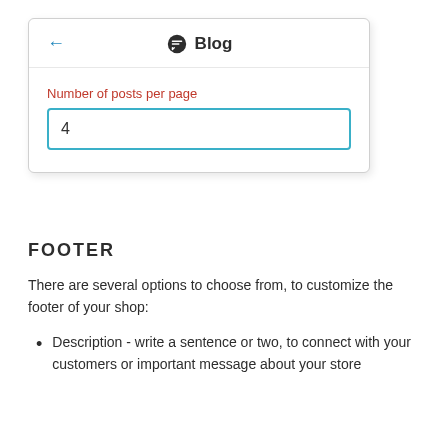[Figure (screenshot): Blog settings panel screenshot showing a back arrow, a chat icon and 'Blog' title header, a field label 'Number of posts per page', and an input box containing the value 4.]
FOOTER
There are several options to choose from, to customize the footer of your shop:
Description - write a sentence or two, to connect with your customers or important message about your store